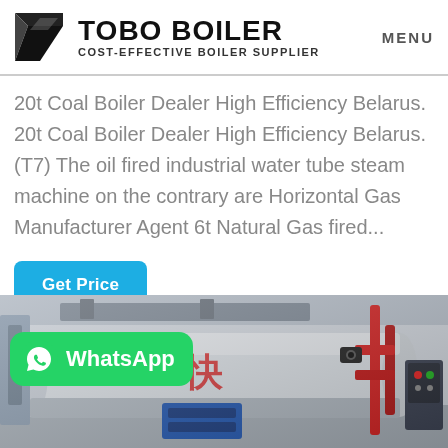TOBO BOILER — COST-EFFECTIVE BOILER SUPPLIER   MENU
20t Coal Boiler Dealer High Efficiency Belarus. 20t Coal Boiler Dealer High Efficiency Belarus. (T7) The oil fired industrial water tube steam machine on the contrary are Horizontal Gas Manufacturer Agent 6t Natural Gas fired...
Get Price
[Figure (photo): Industrial boiler equipment in a factory setting. A large cylindrical horizontal boiler with Chinese character markings is visible, along with red piping, control panels, and industrial machinery in the background. A WhatsApp contact button overlay is present in the lower left.]